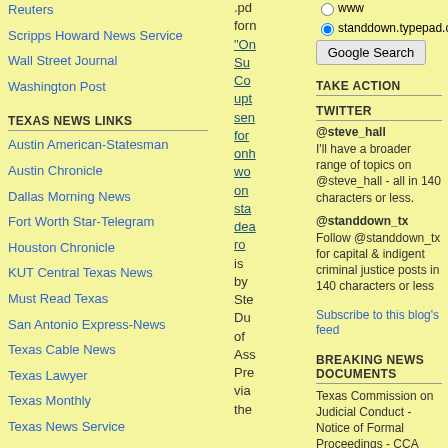Reuters
Scripps Howard News Service
Wall Street Journal
Washington Post
TEXAS NEWS LINKS
Austin American-Statesman
Austin Chronicle
Dallas Morning News
Fort Worth Star-Telegram
Houston Chronicle
KUT Central Texas News
Must Read Texas
San Antonio Express-News
Texas Cable News
Texas Lawyer
Texas Monthly
Texas News Service
.pd forn "On Su Co upt ser for onh wo on sta dea ro is by Ste Du of Ass Pre via the
www
standdown.typepad.com
Google Search
TAKE ACTION
TWITTER
@steve_hall
I'll have a broader range of topics on @steve_hall - all in 140 characters or less.
@standdown_tx
Follow @standdown_tx for capital & indigent criminal justice posts in 140 characters or less
Subscribe to this blog's feed
BREAKING NEWS DOCUMENTS
Texas Commission on Judicial Conduct - Notice of Formal Proceedings - CCA Presiding Judge